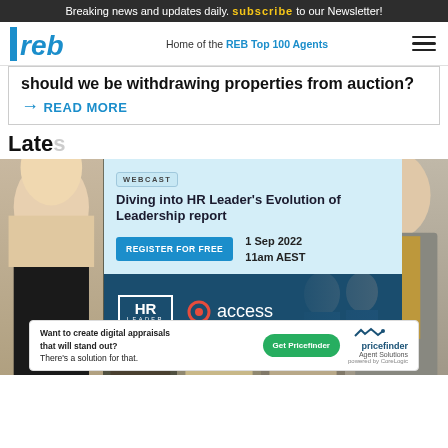Breaking news and updates daily. subscribe to our Newsletter!
[Figure (logo): REB logo - blue italic letters 'reb' with vertical bar]
Home of the REB Top 100 Agents
should we be withdrawing properties from auction?
→ READ MORE
Late...
[Figure (infographic): Webcast advertisement overlay: WEBCAST label, 'Diving into HR Leader's Evolution of Leadership report', REGISTER FOR FREE button, 1 Sep 2022 11am AEST, HR LEADER and access logos on dark blue background, people in background]
[Figure (photo): Strip of professional people headshots in business attire]
[Figure (infographic): Bottom advertisement: 'Want to create digital appraisals that will stand out? There's a solution for that.' with Get Pricefinder green button and Pricefinder Agent Solutions logo]